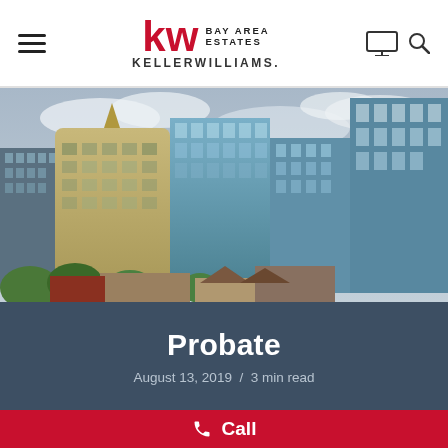KW Bay Area Estates | Keller Williams
[Figure (photo): Cityscape of downtown Oakland/Bay Area with tall modern glass and stone skyscrapers against a cloudy sky, with residential buildings and green trees in the foreground]
Probate
August 13, 2019 / 3 min read
Call